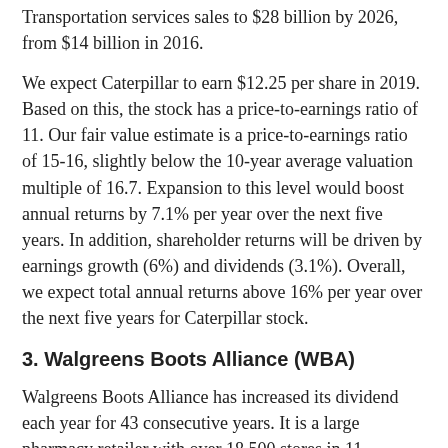Transportation services sales to $28 billion by 2026, from $14 billion in 2016.
We expect Caterpillar to earn $12.25 per share in 2019. Based on this, the stock has a price-to-earnings ratio of 11. Our fair value estimate is a price-to-earnings ratio of 15-16, slightly below the 10-year average valuation multiple of 16.7. Expansion to this level would boost annual returns by 7.1% per year over the next five years. In addition, shareholder returns will be driven by earnings growth (6%) and dividends (3.1%). Overall, we expect total annual returns above 16% per year over the next five years for Caterpillar stock.
3. Walgreens Boots Alliance (WBA)
Walgreens Boots Alliance has increased its dividend each year for 43 consecutive years. It is a large pharmacy retailer with over 18,500 stores in 11 countries around the world. It also operates one of the largest global pharmaceutical wholesale and distribution networks in the world, with more than 390 centers that deliver to nearly 230,000 pharmacies, doctors, health centers and hospitals each year.